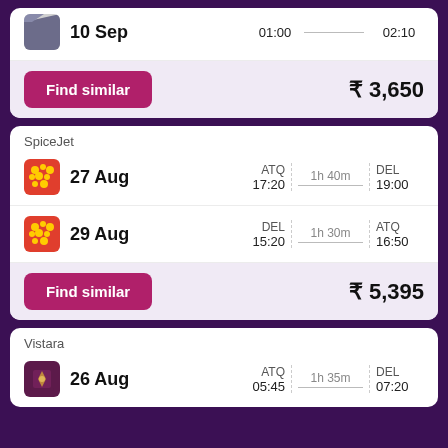[Figure (screenshot): Flight booking app screenshot showing flight cards with airline logos, dates, times, routes and prices]
10 Sep  01:00  02:10
Find similar  ₹ 3,650
SpiceJet
27 Aug  ATQ 17:20  1h 40m  DEL 19:00
29 Aug  DEL 15:20  1h 30m  ATQ 16:50
Find similar  ₹ 5,395
Vistara
26 Aug  ATQ 05:45  1h 35m  DEL 07:20